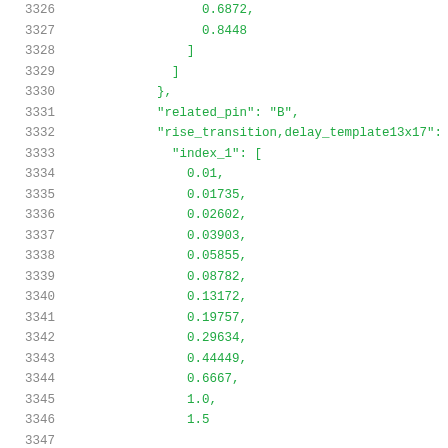Code listing lines 3326-3346 showing JSON/liberty file data with numeric values and keys: related_pin, rise_transition delay_template13x17, index_1 array with values 0.01, 0.01735, 0.02602, 0.03903, 0.05855, 0.08782, 0.13172, 0.19757, 0.29634, 0.44449, 0.6667, 1.0, 1.5